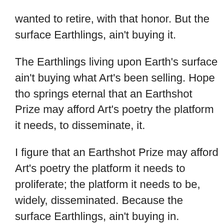wanted to retire, with that honor. But the surface Earthlings, ain't buying it.
The Earthlings living upon Earth's surface ain't buying what Art's been selling. Hope tho springs eternal that an Earthshot Prize may afford Art's poetry the platform it needs, to disseminate, it.
I figure that an Earthshot Prize may afford Art's poetry the platform it needs to proliferate; the platform it needs to be, widely, disseminated. Because the surface Earthlings, ain't buying in.
Not for the moment, anyway; they'll have to actually see an asteroid coming before they'll believe it's really coming. Needless to say, the Earthlings ain't buying, what Art's, been selling.